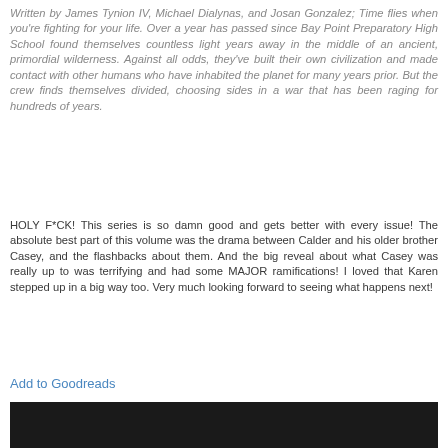Written by James Tynion IV, Michael Dialynas, and Josan Gonzalez; Time flies when you're fighting for your life. Over a year has passed since Bay Point Preparatory High School found themselves countless light years away in the middle of an ancient, primordial wilderness. Against all odds, they've built their own civilization and made contact with other humans who have inhabited the planet for many years prior. But the crew finds themselves divided, choosing sides in a war that has been raging for hundreds of years.
HOLY F*CK! This series is so damn good and gets better with every issue! The absolute best part of this volume was the drama between Calder and his older brother Casey, and the flashbacks about them. And the big reveal about what Casey was really up to was terrifying and had some MAJOR ramifications! I loved that Karen stepped up in a big way too. Very much looking forward to seeing what happens next!
Add to Goodreads
[Figure (photo): Dark photo strip at the bottom of the page, partially visible]